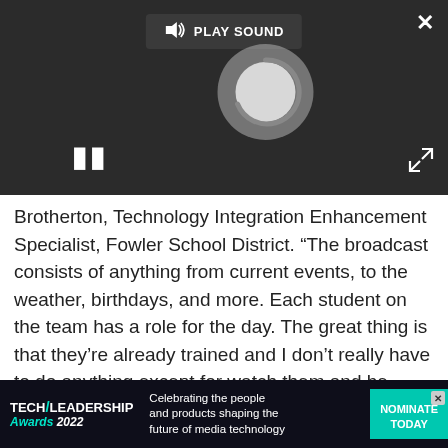[Figure (screenshot): Video player overlay with dark background showing a loading spinner, play sound button, pause button, close (X) button, and expand arrows button]
Brotherton, Technology Integration Enhancement Specialist, Fowler School District. “The broadcast consists of anything from current events, to the weather, birthdays, and more. Each student on the team has a role for the day. The great thing is that they’re already trained and I don’t really have to do anything except for watch them and be proud.”
To learn more ways of integrating BoinxTV into the classroom curriculum, please visit: http://boinx.com/boinxtv/use/school/.
[Figure (screenshot): Tech Leadership Awards 2022 advertisement banner: Celebrating the people and products shaping the future of media technology. Nominate Today button in teal.]